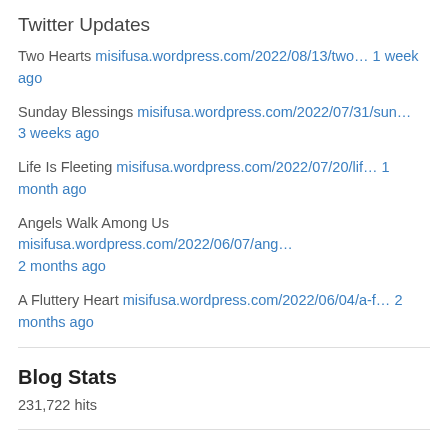Twitter Updates
Two Hearts misifusa.wordpress.com/2022/08/13/two… 1 week ago
Sunday Blessings misifusa.wordpress.com/2022/07/31/sun… 3 weeks ago
Life Is Fleeting misifusa.wordpress.com/2022/07/20/lif… 1 month ago
Angels Walk Among Us misifusa.wordpress.com/2022/06/07/ang… 2 months ago
A Fluttery Heart misifusa.wordpress.com/2022/06/04/a-f… 2 months ago
Blog Stats
231,722 hits
Copyright Notice: